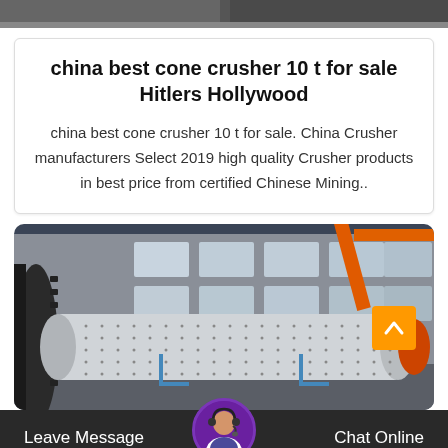[Figure (photo): Partial top strip of a factory or industrial image, cropped at top]
china best cone crusher 10 t for sale Hitlers Hollywood
china best cone crusher 10 t for sale. China Crusher manufacturers Select 2019 high quality Crusher products in best price from certified Chinese Mining..
[Figure (photo): Industrial factory interior showing a large cylindrical ball mill machine with gear teeth on the left side, inside a large warehouse with orange crane and windows in background]
Leave Message
Chat Online